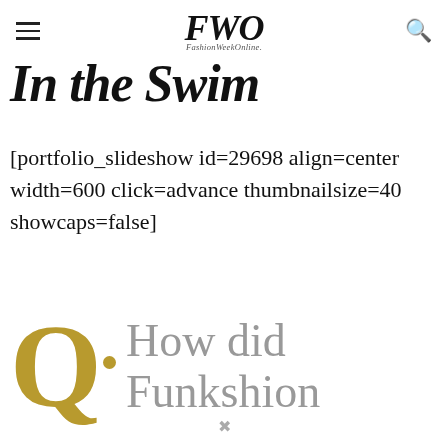FWO FashionWeekOnline
In the Swim
[portfolio_slideshow id=29698 align=center width=600 click=advance thumbnailsize=40 showcaps=false]
Q. How did Funkshion